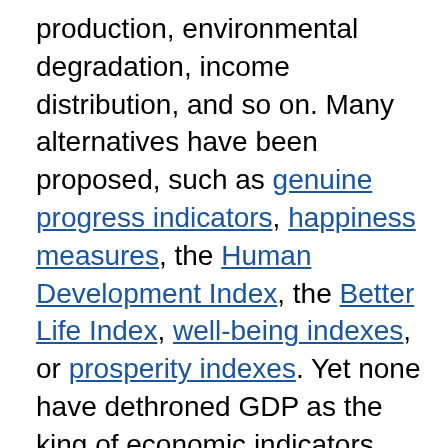production, environmental degradation, income distribution, and so on.  Many alternatives have been proposed, such as genuine progress indicators, happiness measures, the Human Development Index, the Better Life Index, well-being indexes, or prosperity indexes. Yet none have dethroned GDP as the king of economic indicators.
GDP's prominence is partly due to history - once a measure is widely accepted and understood, it is costly to switch. Moreover, GDP has